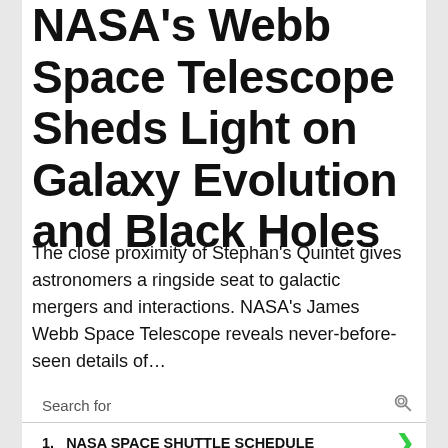NASA's Webb Space Telescope Sheds Light on Galaxy Evolution and Black Holes
The close proximity of Stephan's Quintet gives astronomers a ringside seat to galactic mergers and interactions. NASA's James Webb Space Telescope reveals never-before-seen details of…
[Figure (screenshot): Advertisement banner with cyan/blue gradient background and italic blue text reading 'Japan' with a spiral graphic on the right side]
Search for
1.  NASA SPACE SHUTTLE SCHEDULE
2.  SPACE STATION TRACKING
Ad | Cellphone Guru